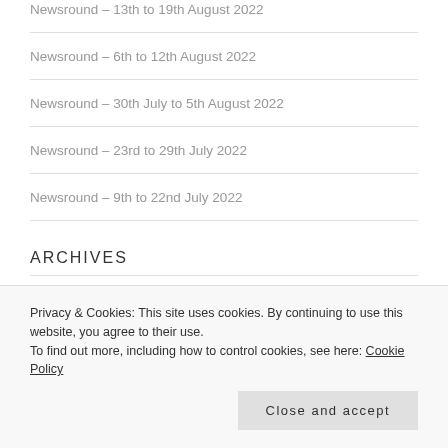Newsround – 13th to 19th August 2022
Newsround – 6th to 12th August 2022
Newsround – 30th July to 5th August 2022
Newsround – 23rd to 29th July 2022
Newsround – 9th to 22nd July 2022
ARCHIVES
August 2022
July 2022
Privacy & Cookies: This site uses cookies. By continuing to use this website, you agree to their use. To find out more, including how to control cookies, see here: Cookie Policy
Close and accept